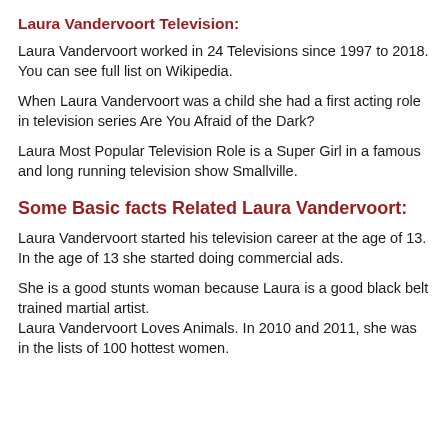Laura Vandervoort Television:
Laura Vandervoort worked in 24 Televisions since 1997 to 2018. You can see full list on Wikipedia.
When Laura Vandervoort was a child she had a first acting role in television series Are You Afraid of the Dark?
Laura Most Popular Television Role is a Super Girl in a famous and long running television show Smallville.
Some Basic facts Related Laura Vandervoort:
Laura Vandervoort started his television career at the age of 13. In the age of 13 she started doing commercial ads.
She is a good stunts woman because Laura is a good black belt trained martial artist.
Laura Vandervoort Loves Animals. In 2010 and 2011, she was in the lists of 100 hottest women.